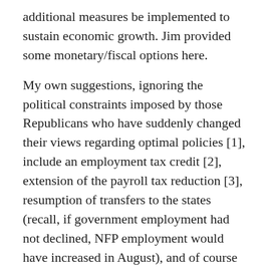additional measures be implemented to sustain economic growth. Jim provided some monetary/fiscal options here.
My own suggestions, ignoring the political constraints imposed by those Republicans who have suddenly changed their views regarding optimal policies [1], include an employment tax credit [2], extension of the payroll tax reduction [3], resumption of transfers to the states (recall, if government employment had not declined, NFP employment would have increased in August), and of course substantial infrastructure investment (I argued for this back in the ARRA debates, but there were many Republican critics who argued that